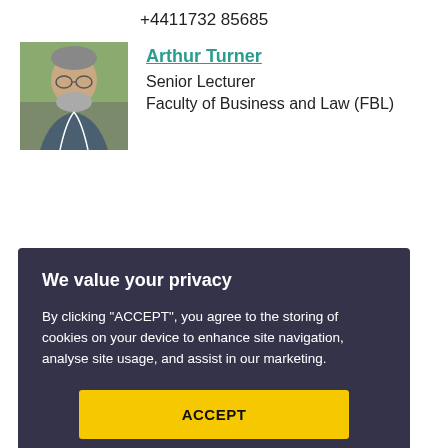+4411732 85685
[Figure (photo): Portrait photo of Arthur Turner, a middle-aged man with glasses and a grey beard, wearing a jacket, outdoors.]
Arthur Turner
Senior Lecturer
Faculty of Business and Law (FBL)
We value your privacy
By clicking “ACCEPT”, you agree to the storing of cookies on your device to enhance site navigation, analyse site usage, and assist in our marketing.
ACCEPT
VIEW COOKIE SETTINGS